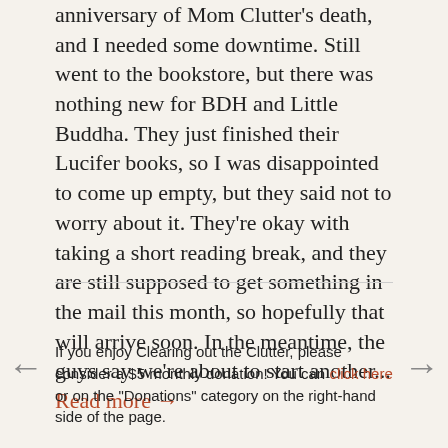anniversary of Mom Clutter's death, and I needed some downtime. Still went to the bookstore, but there was nothing new for BDH and Little Buddha. They just finished their Lucifer books, so I was disappointed to come up empty, but they said not to worry about it. They're okay with taking a short reading break, and they are still supposed to get something in the mail this month, so hopefully that will arrive soon. In the meantime, the guys say we're about to start another... Read more →
If you enjoy Clearing out the Clutter, please consider a $5 monthly donation!  You can click here or on the "Donations" category on the right-hand side of the page.